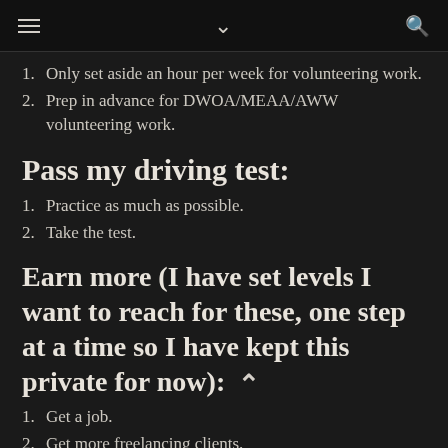≡  ∨  🔍
1. Only set aside an hour per week for volunteering work.
2. Prep in advance for DWOA/MEAA/AWW volunteering work.
Pass my driving test:
1. Practice as much as possible.
2. Take the test.
Earn more (I have set levels I want to reach for these, one step at a time so I have kept this private for now):
1. Get a job.
2. Get more freelancing clients.